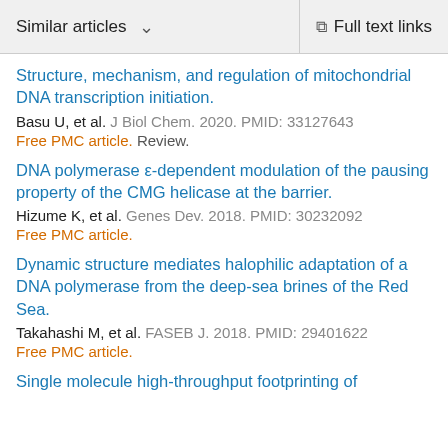Similar articles  ∨   Full text links
Structure, mechanism, and regulation of mitochondrial DNA transcription initiation.
Basu U, et al. J Biol Chem. 2020. PMID: 33127643
Free PMC article. Review.
DNA polymerase ε-dependent modulation of the pausing property of the CMG helicase at the barrier.
Hizume K, et al. Genes Dev. 2018. PMID: 30232092
Free PMC article.
Dynamic structure mediates halophilic adaptation of a DNA polymerase from the deep-sea brines of the Red Sea.
Takahashi M, et al. FASEB J. 2018. PMID: 29401622
Free PMC article.
Single molecule high-throughput footprinting of